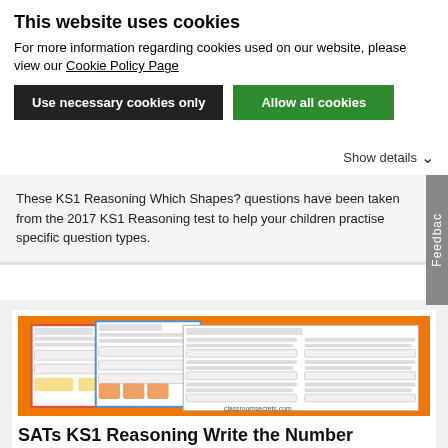This website uses cookies
For more information regarding cookies used on our website, please view our Cookie Policy Page
Use necessary cookies only | Allow all cookies
Show details
These KS1 Reasoning Which Shapes? questions have been taken from the 2017 KS1 Reasoning test to help your children practise specific question types.
[Figure (screenshot): Thumbnail preview of SATs KS1 Reasoning Write the Number Sentence worksheets on an orange background, showing multiple overlapping worksheet pages]
SATs KS1 Reasoning Write the Number Sentence Test Practice